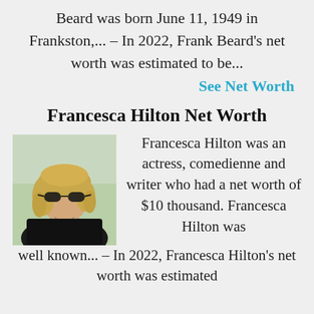Beard was born June 11, 1949 in Frankston,... – In 2022, Frank Beard's net worth was estimated to be...
See Net Worth
Francesca Hilton Net Worth
[Figure (photo): Photo of Francesca Hilton, a woman with blonde hair wearing sunglasses and a black top, outdoors.]
Francesca Hilton was an actress, comedienne and writer who had a net worth of $10 thousand. Francesca Hilton was well known... – In 2022, Francesca Hilton's net worth was estimated